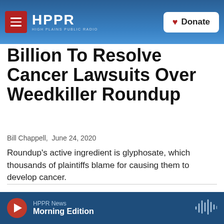HPPR HIGH PLAINS PUBLIC RADIO | Donate
Billion To Resolve Cancer Lawsuits Over Weedkiller Roundup
Bill Chappell,  June 24, 2020
Roundup's active ingredient is glyphosate, which thousands of plaintiffs blame for causing them to develop cancer.
[Figure (other): Gray placeholder media block]
HPPR News Morning Edition